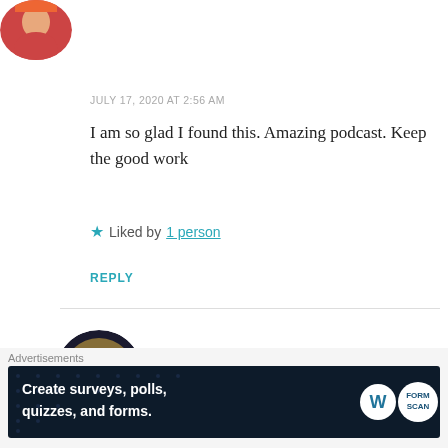[Figure (photo): Circular avatar image of a person, partially visible at top left]
JULY 17, 2020 AT 2:56 AM
I am so glad I found this. Amazing podcast. Keep the good work
★ Liked by 1 person
REPLY
[Figure (illustration): Circular avatar of Ashli Ferguson - cartoon style couple illustration with dark background and yellow circle]
Ashli Ferguson
JULY 18, 2020 AT 8:43 PM
Advertisements
[Figure (screenshot): Advertisement banner: Create surveys, polls, quizzes, and forms. WordPress and FormScan logos on dark navy background]